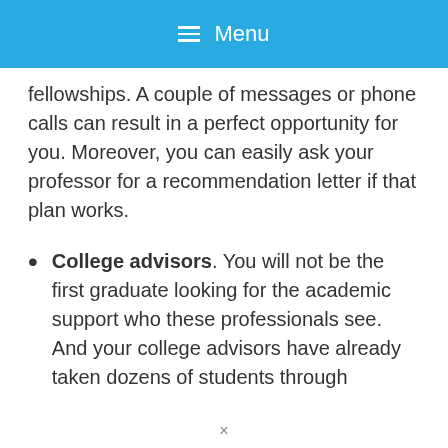≡ Menu
fellowships. A couple of messages or phone calls can result in a perfect opportunity for you. Moreover, you can easily ask your professor for a recommendation letter if that plan works.
College advisors. You will not be the first graduate looking for the academic support who these professionals see. And your college advisors have already taken dozens of students through